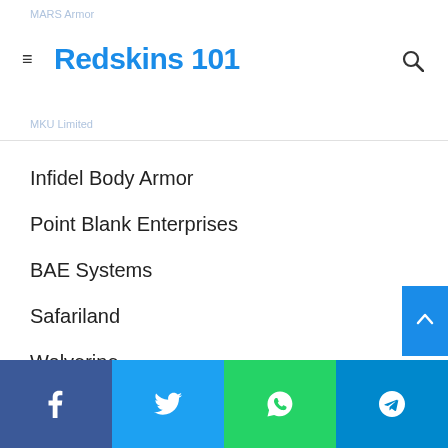MARS Armor | Redskins 101 | MKU Limited
Infidel Body Armor
Point Blank Enterprises
BAE Systems
Safariland
Wolverine
Ningbo Dacheng
Facebook | Twitter | WhatsApp | Telegram